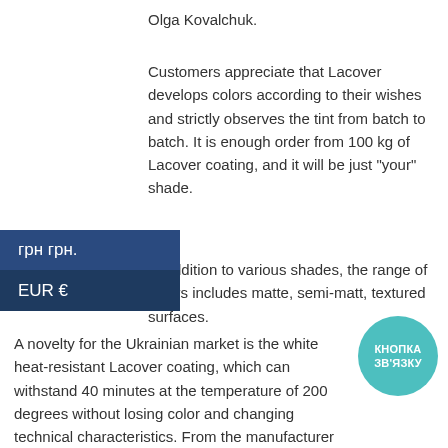Olga Kovalchuk.
Customers appreciate that Lacover develops colors according to their wishes and strictly observes the tint from batch to batch. It is enough order from 100 kg of Lacover coating, and it will be just "your" shade.
In addition to various shades, the range of colors includes matte, semi-matt, textured surfaces.
A novelty for the Ukrainian market is the white heat-resistant Lacover coating, which can withstand 40 minutes at the temperature of 200 degrees without losing color and changing technical characteristics. From the manufacturer point of view, this is advantageous, since such a paint will not give yellowness during roasting